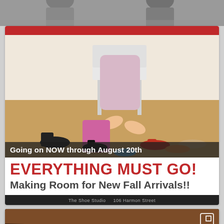[Figure (photo): Partial black and white photo of people at top of page]
[Figure (photo): Shoe store sale advertisement. Shows a woman sitting in a chair with many shoes scattered on the floor around her. Red stripe at top.]
Going on NOW through August 20th
EVERYTHING MUST GO!
Making Room for New Fall Arrivals!!
The Shoe Studio  106 Harmon Street
[Figure (photo): Concert photo showing band performing outdoors at night with an info overlay box showing August 16, Rob Tait Band, 6PM-8PM]
AUGUST 16
ROB TAIT BAND
6PM-8PM
SUMMER NIGHTS